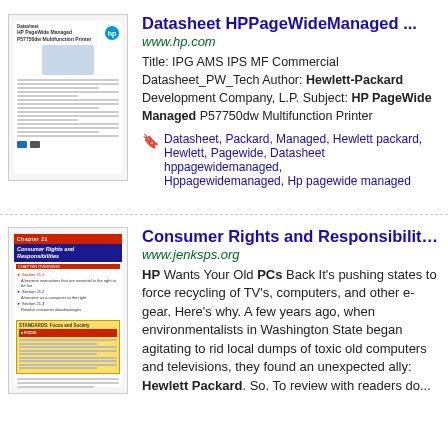[Figure (screenshot): Thumbnail of HP PageWide Managed P57750dw Multifunction Printer datasheet]
Datasheet HPPageWideManaged ...
www.hp.com
Title: IPG AMS IPS MF Commercial Datasheet_PW_Tech Author: Hewlett-Packard Development Company, L.P. Subject: HP PageWide Managed P57750dw Multifunction Printer
Datasheet, Packard, Managed, Hewlett packard, Hewlett, Pagewide, Datasheet hppagewidemanaged, Hppagewidemanaged, Hp pagewide managed
[Figure (screenshot): Thumbnail of Consumer Rights and Responsibilities chapter page]
Consumer Rights and Responsibilities...
www.jenksps.org
HP Wants Your Old PCs Back It's pushing states to force recycling of TVs, computers, and other e-gear. Here's why. A few years ago, when environmentalists in Washington State began agitating to rid local dumps of toxic old computers and televisions, they found an unexpected ally: Hewlett Packard. So. To review with readers do...